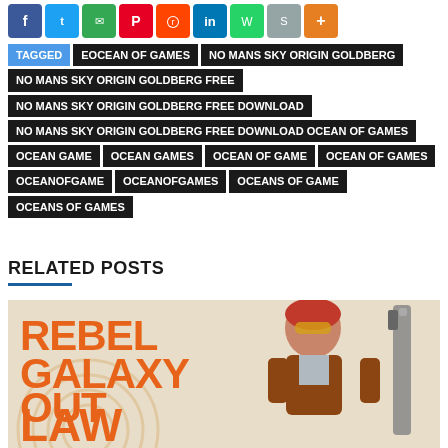[Figure (other): Row of social media sharing icon buttons: Facebook, Twitter, Email, Pinterest, Reddit, LinkedIn, WhatsApp, ShareThis, More]
TAGGED  EOCEAN OF GAMES  NO MANS SKY ORIGIN GOLDBERG  NO MANS SKY ORIGIN GOLDBERG FREE  NO MANS SKY ORIGIN GOLDBERG FREE DOWNLOAD  NO MANS SKY ORIGIN GOLDBERG FREE DOWNLOAD OCEAN OF GAMES  OCEAN GAME  OCEAN GAMES  OCEAN OF GAME  OCEAN OF GAMES  OCEANOFGAME  OCEANOFGAMES  OCEANS OF GAME  OCEANS OF GAMES
RELATED POSTS
[Figure (illustration): Game cover art for Rebel Galaxy Outlaw showing large orange text 'REBEL GALAXY OUT LAW' on left and illustrated character (young person with red hair and goggles) on right against a sandy/cream background]